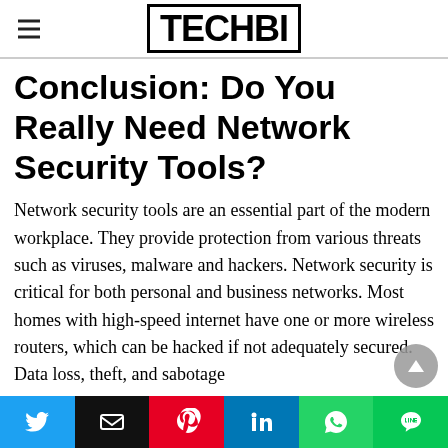TECHBI
Conclusion: Do You Really Need Network Security Tools?
Network security tools are an essential part of the modern workplace. They provide protection from various threats such as viruses, malware and hackers. Network security is critical for both personal and business networks. Most homes with high-speed internet have one or more wireless routers, which can be hacked if not adequately secured. Data loss, theft, and sabotage
Twitter | Email | Pinterest | LinkedIn | WhatsApp | LINE